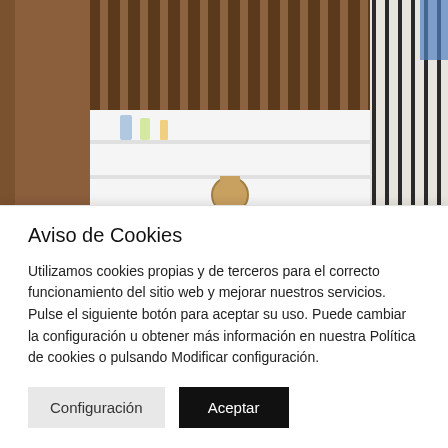[Figure (photo): Photo of wooden acoustic panel product displayed in a store or showroom setting, showing vertical slatted wood panels alongside a white shelf unit with items on it.]
Wood
acous
Aviso de Cookies
Utilizamos cookies propias y de terceros para el correcto funcionamiento del sitio web y mejorar nuestros servicios. Pulse el siguiente botón para aceptar su uso. Puede cambiar la configuración u obtener más información en nuestra Política de cookies o pulsando Modificar configuración.